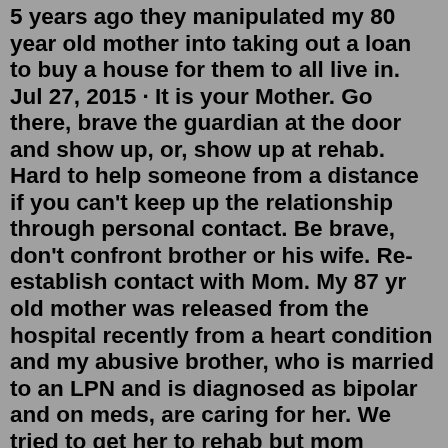5 years ago they manipulated my 80 year old mother into taking out a loan to buy a house for them to all live in. Jul 27, 2015 · It is your Mother. Go there, brave the guardian at the door and show up, or, show up at rehab. Hard to help someone from a distance if you can't keep up the relationship through personal contact. Be brave, don't confront brother or his wife. Re-establish contact with Mom. My 87 yr old mother was released from the hospital recently from a heart condition and my abusive brother, who is married to an LPN and is diagnosed as bipolar and on meds, are caring for her. We tried to get her to rehab but mom elected to receive their care instead so she could return home.Dec 02, 2015 · I have cared for my mom, (89 now with moderate dementia), for 19 years since my dad died, 2 of my siblings agreed to take mom for 2 months a year, my older brother took mom every year for 2 months, missing one year due to damage of his house from a hurricane, my older sister took her once maybe twice for 2 weeks until after she retired and ... Dec 28, 2016 · My Mom had been telling me for